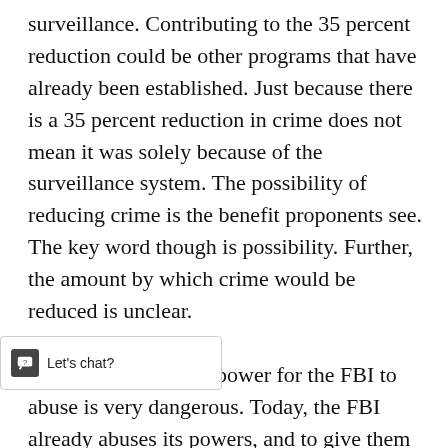surveillance. Contributing to the 35 percent reduction could be other programs that have already been established. Just because there is a 35 percent reduction in crime does not mean it was solely because of the surveillance system. The possibility of reducing crime is the benefit proponents see. The key word though is possibility. Further, the amount by which crime would be reduced is unclear.

Thirdly, giving more power for the FBI to abuse is very dangerous. Today, the FBI already abuses its powers, and to give them the power of a high-tech surveillance [woul]d only call for more abuse and wrong doings. The standoff in Waco, Texas is an example of this issue. Th